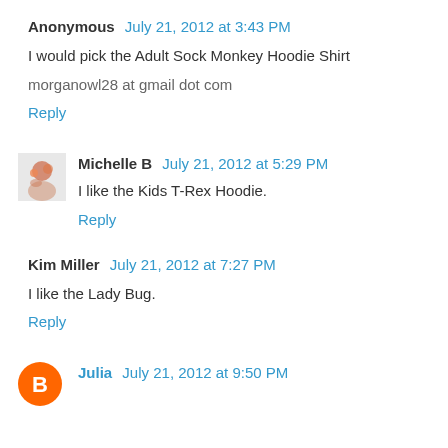Anonymous July 21, 2012 at 3:43 PM
I would pick the Adult Sock Monkey Hoodie Shirt
morganowl28 at gmail dot com
Reply
[Figure (photo): Small avatar image for Michelle B commenter]
Michelle B July 21, 2012 at 5:29 PM
I like the Kids T-Rex Hoodie.
Reply
Kim Miller July 21, 2012 at 7:27 PM
I like the Lady Bug.
Reply
[Figure (logo): Blogger orange circle avatar for Julia commenter]
Julia July 21, 2012 at 9:50 PM